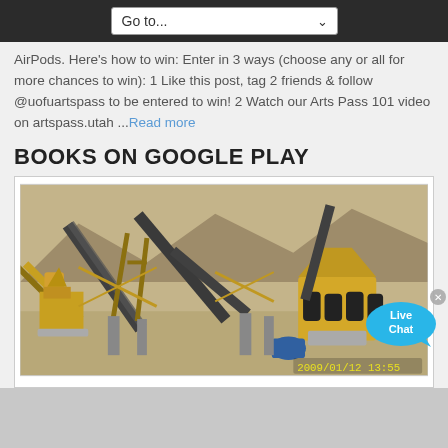Go to...
AirPods. Here's how to win: Enter in 3 ways (choose any or all for more chances to win): 1 Like this post, tag 2 friends & follow @uofuartspass to be entered to win! 2 Watch our Arts Pass 101 video on artspass.utah ...Read more
BOOKS ON GOOGLE PLAY
[Figure (photo): Aerial/elevated view of yellow industrial rock crushing machinery and conveyor belts at a mining/quarry site. Timestamp 2009/01/12 13:55 visible in bottom right corner.]